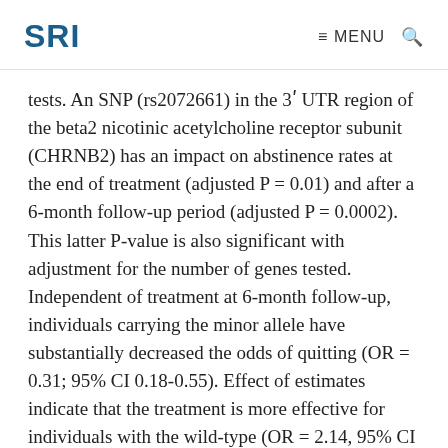SRI   MENU
tests. An SNP (rs2072661) in the 3ʹ UTR region of the beta2 nicotinic acetylcholine receptor subunit (CHRNB2) has an impact on abstinence rates at the end of treatment (adjusted P = 0.01) and after a 6-month follow-up period (adjusted P = 0.0002). This latter P-value is also significant with adjustment for the number of genes tested. Independent of treatment at 6-month follow-up, individuals carrying the minor allele have substantially decreased the odds of quitting (OR = 0.31; 95% CI 0.18-0.55). Effect of estimates indicate that the treatment is more effective for individuals with the wild-type (OR = 2.14, 95% CI 1.20-